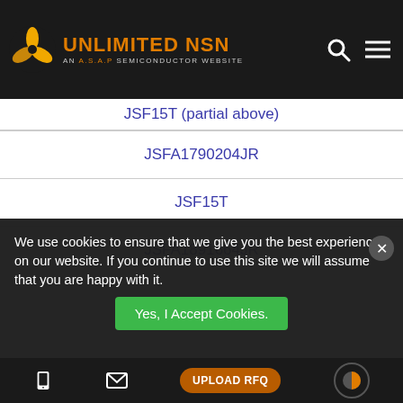UNLIMITED NSN - AN A.S.A.P SEMICONDUCTOR WEBSITE
JSFA1790204JR
JSF15T
JSFA1891664JR
JSFA2190904JS
JSFA1790204JR
JSF10M
JSFA2081504JW
We use cookies to ensure that we give you the best experience on our website. If you continue to use this site we will assume that you are happy with it.
Yes, I Accept Cookies. | UPLOAD RFQ